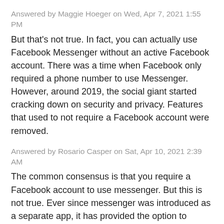Answered by Maggie Hoeger on Wed, Apr 7, 2021 1:55 PM
But that's not true. In fact, you can actually use Facebook Messenger without an active Facebook account. There was a time when Facebook only required a phone number to use Messenger. However, around 2019, the social giant started cracking down on security and privacy. Features that used to not require a Facebook account were removed.
Answered by Rosario Casper on Sat, Apr 10, 2021 2:39 AM
The common consensus is that you require a Facebook account to use messenger. But this is not true. Ever since messenger was introduced as a separate app, it has provided the option to create a